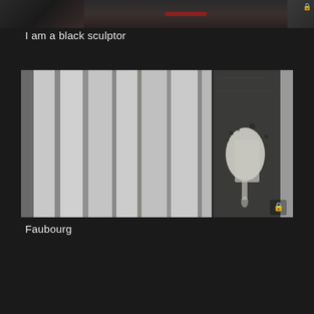[Figure (photo): Top strip showing partial thumbnails: left thumbnail shows dark tones, center thumbnail shows a dark scene with a red element, right thumbnail shows a gray gradient with a lock icon overlay]
I am a black sculptor
[Figure (photo): Grayscale photograph showing vertical panel structures or shutters, left portion showing lighter folded/corrugated panels, right portion showing darker weathered wall with white paint splash; lock icon in bottom right corner]
Faubourg